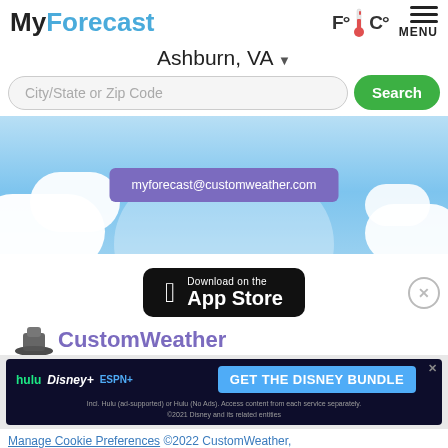MyForecast
Ashburn, VA
City/State or Zip Code
Search
[Figure (illustration): Sky background with white clouds and a purple pill button showing myforecast@customweather.com]
myforecast@customweather.com
[Figure (logo): Download on the App Store badge (black rounded rectangle with Apple logo)]
[Figure (logo): CustomWeather hat logo with purple CustomWeather text]
[Figure (infographic): Disney Bundle advertisement banner with Hulu, Disney+, ESPN+ logos and GET THE DISNEY BUNDLE CTA]
Manage Cookie Preferences ©2022 CustomWeather,